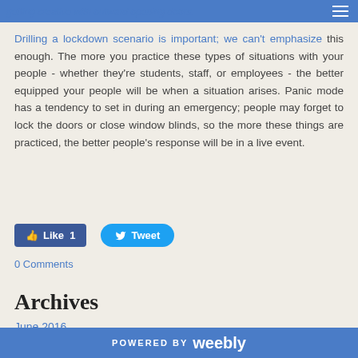getting creative with outward opening doors.
Drilling a lockdown scenario is important; we can't emphasize this enough. The more you practice these types of situations with your people - whether they're students, staff, or employees - the better equipped your people will be when a situation arises. Panic mode has a tendency to set in during an emergency; people may forget to lock the doors or close window blinds, so the more these things are practiced, the better people's response will be in a live event.
Like 1
Tweet
0 Comments
Archives
June 2016
POWERED BY weebly